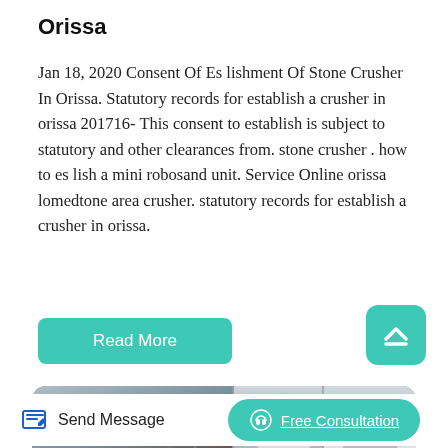Orissa
Jan 18, 2020 Consent Of Es lishment Of Stone Crusher In Orissa. Statutory records for establish a crusher in orissa 201716- This consent to establish is subject to statutory and other clearances from. stone crusher . how to es lish a mini robosand unit. Service Online orissa lomedtone area crusher. statutory records for establish a crusher in orissa.
Read More
[Figure (photo): Photo of stone crusher industrial equipment site with HONG XIN logo visible on left panel, showing machinery and industrial structures]
Send Message
Free Consultation